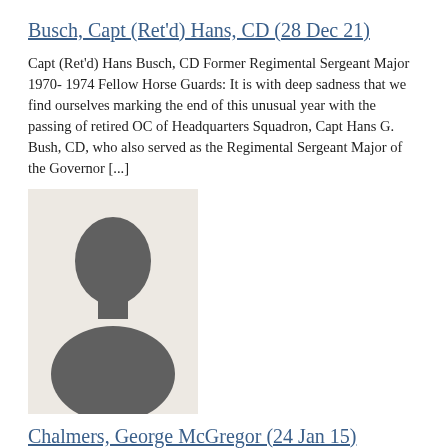Busch, Capt (Ret'd) Hans, CD (28 Dec 21)
Capt (Ret'd) Hans Busch, CD Former Regimental Sergeant Major 1970- 1974 Fellow Horse Guards: It is with deep sadness that we find ourselves marking the end of this unusual year with the passing of retired OC of Headquarters Squadron, Capt Hans G. Bush, CD, who also served as the Regimental Sergeant Major of the Governor [...]
[Figure (photo): Placeholder silhouette image of a person, grey figure on light beige background]
Chalmers, George McGregor (24 Jan 15)
Age 94 It is with great sadness that we announce the